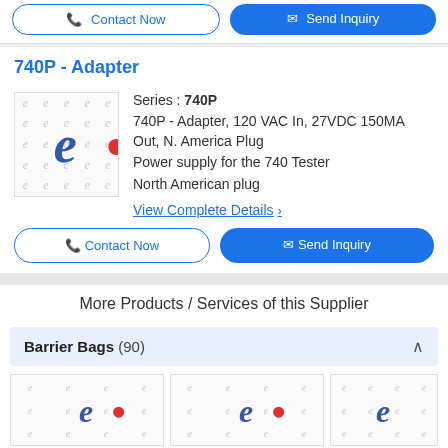[Figure (screenshot): Top portion of product listing page showing Contact Now and Send Inquiry buttons (partially cropped at top)]
740P - Adapter
[Figure (logo): Stylized italic 'e' logo in blue with red dot, repeated watermark pattern on light background]
Series : 740P
740P - Adapter, 120 VAC In, 27VDC 150MA Out, N. America Plug
Power supply for the 740 Tester
North American plug
View Complete Details >
Contact Now
Send Inquiry
More Products / Services of this Supplier
Barrier Bags (90)
[Figure (photo): Three product thumbnail images with 'e' logo watermarks, partially cropped at bottom]